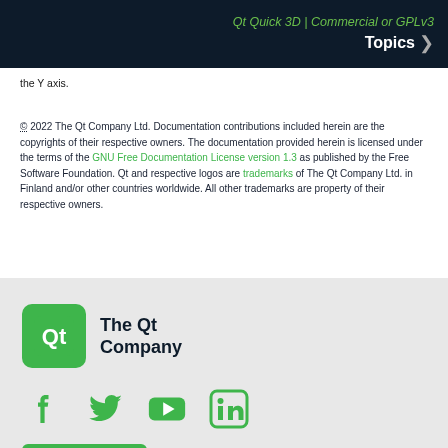Qt Quick 3D | Commercial or GPLv3 Topics >
the Y axis.
© 2022 The Qt Company Ltd. Documentation contributions included herein are the copyrights of their respective owners. The documentation provided herein is licensed under the terms of the GNU Free Documentation License version 1.3 as published by the Free Software Foundation. Qt and respective logos are trademarks of The Qt Company Ltd. in Finland and/or other countries worldwide. All other trademarks are property of their respective owners.
[Figure (logo): The Qt Company logo - green rounded square with Qt text, next to 'The Qt Company' text]
[Figure (logo): Social media icons: Facebook, Twitter, YouTube, LinkedIn in green]
Contact Us
Company
Licensing